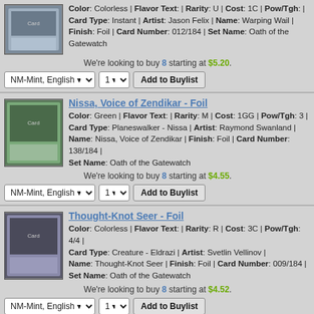Warping Wail - Foil (partial, top cut off). Color: Colorless | Flavor Text: | Rarity: U | Cost: 1C | Pow/Tgh: | Card Type: Instant | Artist: Jason Felix | Name: Warping Wail | Finish: Foil | Card Number: 012/184 | Set Name: Oath of the Gatewatch
We're looking to buy 8 starting at $5.20.
NM-Mint, English | 1 | Add to Buylist
Nissa, Voice of Zendikar - Foil
Color: Green | Flavor Text: | Rarity: M | Cost: 1GG | Pow/Tgh: 3 | Card Type: Planeswalker - Nissa | Artist: Raymond Swanland | Name: Nissa, Voice of Zendikar | Finish: Foil | Card Number: 138/184 | Set Name: Oath of the Gatewatch
We're looking to buy 8 starting at $4.55.
NM-Mint, English | 1 | Add to Buylist
Thought-Knot Seer - Foil
Color: Colorless | Flavor Text: | Rarity: R | Cost: 3C | Pow/Tgh: 4/4 | Card Type: Creature - Eldrazi | Artist: Svetlin Vellinov | Name: Thought-Knot Seer | Finish: Foil | Card Number: 009/184 | Set Name: Oath of the Gatewatch
We're looking to buy 8 starting at $4.52.
NM-Mint, English | 1 | Add to Buylist
World Breaker - Foil
Color: Green | Flavor Text: | Rarity: M | Cost: 6G | Pow/Tgh: 5/7 | Card Type: Creature - Eldrazi | Artist: Jaime Jones | Name: World Breaker | Finish: Foil | Card Number: 126/184 | Set Name: Oath of the Gatewatch